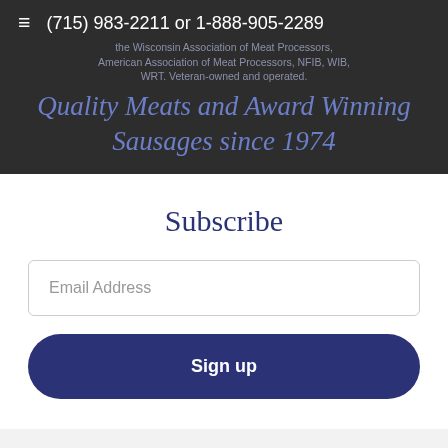the Wisconsin Association of Meat Processors, (715) 983-2211 or 1-888-905-2289 American Association of Meat Processors, NFIB, WIB, WRT. Veteran-owned and operated.
Quality Meats and Award Winning Sausages since 1974
Subscribe
Email Address
Sign up
Contact U